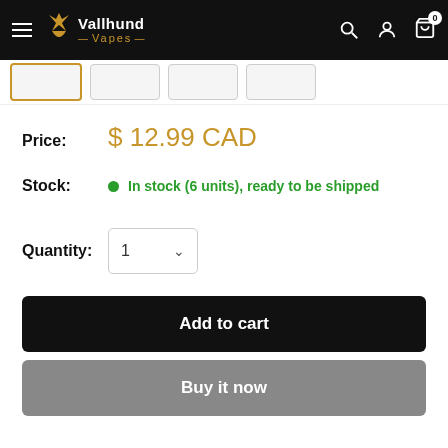[Figure (screenshot): Vallhund Vapes navigation bar with hamburger menu, logo, search, account, and cart icons on black background]
Price: $ 12.99 CAD
Stock: In stock (6 units), ready to be shipped
Quantity: 1
Add to cart
Buy it now